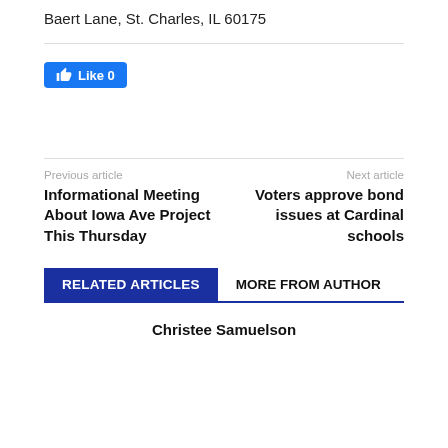Baert Lane, St. Charles, IL 60175
[Figure (other): Facebook Like button showing 'Like 0']
Previous article
Next article
Informational Meeting About Iowa Ave Project This Thursday
Voters approve bond issues at Cardinal schools
RELATED ARTICLES
MORE FROM AUTHOR
Christee Samuelson